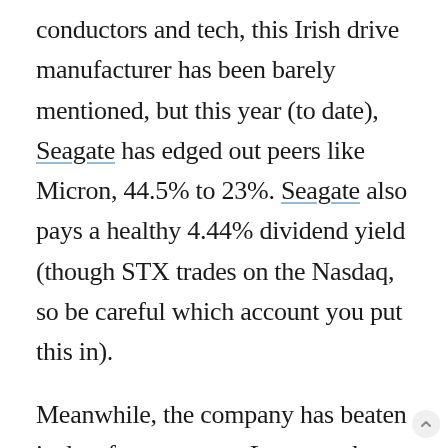conductors and tech, this Irish drive manufacturer has been barely mentioned, but this year (to date), Seagate has edged out peers like Micron, 44.5% to 23%. Seagate also pays a healthy 4.44% dividend yield (though STX trades on the Nasdaq, so be careful which account you put this in).
Meanwhile, the company has beaten its last four quarters. Last month, Morgan Stanley maintained its overweight call on the stock, but raised Seagate's price target from $61 to $66, given the company's push